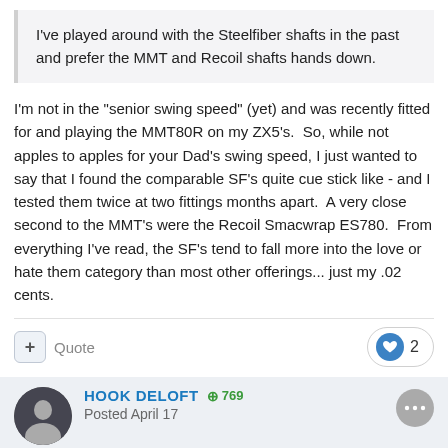I've played around with the Steelfiber shafts in the past and prefer the MMT and Recoil shafts hands down.
I'm not in the "senior swing speed" (yet) and was recently fitted for and playing the MMT80R on my ZX5's.  So, while not apples to apples for your Dad's swing speed, I just wanted to say that I found the comparable SF's quite cue stick like - and I tested them twice at two fittings months apart.  A very close second to the MMT's were the Recoil Smacwrap ES780.  From everything I've read, the SF's tend to fall more into the love or hate them category than most other offerings... just my .02 cents.
HOOK DELOFT  +769  Posted April 17
My driver swing speed is in the mid to high 80s and 7 iron is 75 to